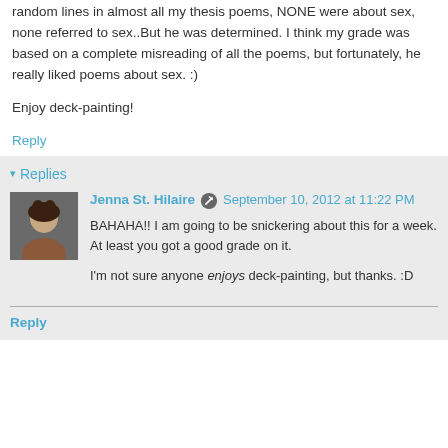random lines in almost all my thesis poems, NONE were about sex, none referred to sex..But he was determined. I think my grade was based on a complete misreading of all the poems, but fortunately, he really liked poems about sex. :)
Enjoy deck-painting!
Reply
▾ Replies
Jenna St. Hilaire  September 10, 2012 at 11:22 PM
BAHAHA!! I am going to be snickering about this for a week. At least you got a good grade on it.
I'm not sure anyone enjoys deck-painting, but thanks. :D
Reply